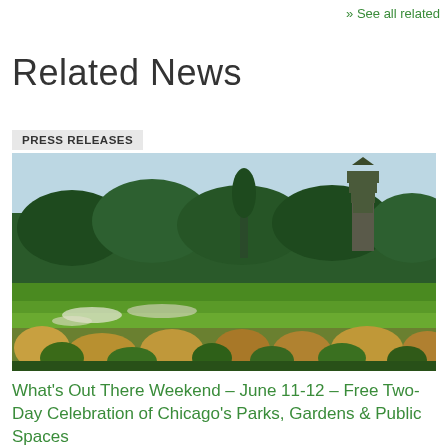» See all related
Related News
PRESS RELEASES
[Figure (photo): Outdoor park scene with people on a green lawn, lush trees and ornamental grasses, and a tall wooden tower structure visible in the background against a clear sky.]
What's Out There Weekend – June 11-12 – Free Two-Day Celebration of Chicago's Parks, Gardens & Public Spaces